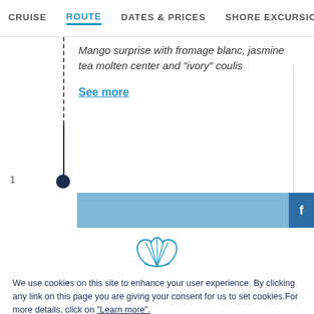CRUISE  ROUTE  DATES & PRICES  SHORE EXCURSIO
Mango surprise with fromage blanc, jasmine tea molten center and "ivory" coulis
See more
[Figure (infographic): Timeline route indicator with dotted and solid vertical line, circle marker at bottom labeled 1, and a horizontal blue bar extending to the right]
[Figure (logo): Cruise line shell/scallop logo outline in blue]
We use cookies on this site to enhance your user experience. By clicking any link on this page you are giving your consent for us to set cookies.For more details, click on "Learn more".
CUSTOMIZE
REFUSE
OK, I AGREE